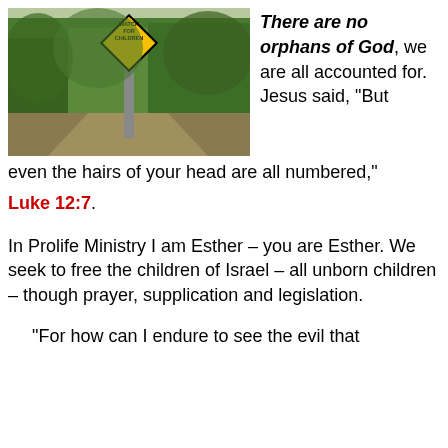[Figure (photo): Outdoor photo of a yellow diamond-shaped road sign reading 'WATCH FOR CHILDREN' on a post, with trees and a dirt path in the background.]
There are no orphans of God, we are all accounted for. Jesus said, “But even the hairs of your head are all numbered,” Luke 12:7.
In Prolife Ministry I am Esther – you are Esther. We seek to free the children of Israel – all unborn children – though prayer, supplication and legislation.
“For how can I endure to see the evil that